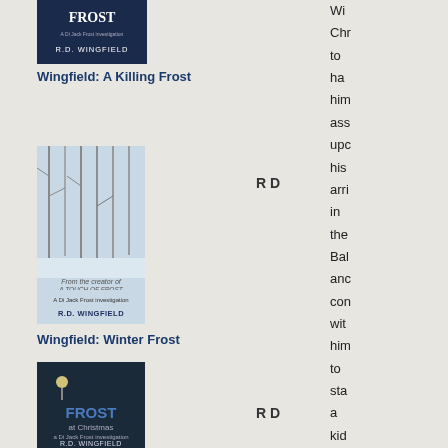[Figure (illustration): Book cover: A Killing Frost by R.D. Wingfield - dark blue/black cover with frost imagery]
Wingfield: A Killing Frost
[Figure (illustration): Book cover: Winter Frost by R.D. Wingfield - snowy forest scene with red FROST text]
R D
Wingfield: Winter Frost
[Figure (illustration): Book cover: Frost at Christmas by R.D. Wingfield - dark park scene with bench and streetlight]
R D
Wingfield: Frost At
Wi
Chr
to
ha
him
ass
upc
his
arri
in
the
Bal
anc
con
wit
him
to
sta
a
kid
in
the
hop